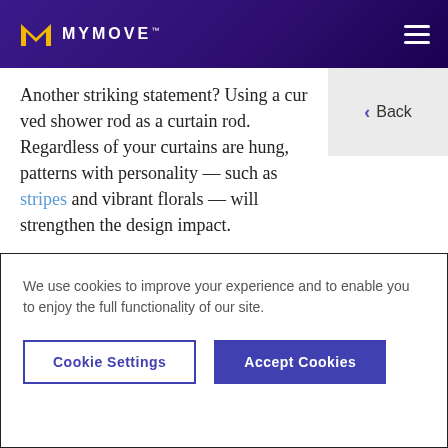MYMOVE
Another striking statement? Using a curved shower rod as a curtain rod. Regardless of how your curtains are hung, patterns with personality — such as stripes and vibrant florals — will strengthen the design impact.
5. Feature a Front-Running Wall
Just because it's listed last doesn't mean it can't
We use cookies to improve your experience and to enable you to enjoy the full functionality of our site.